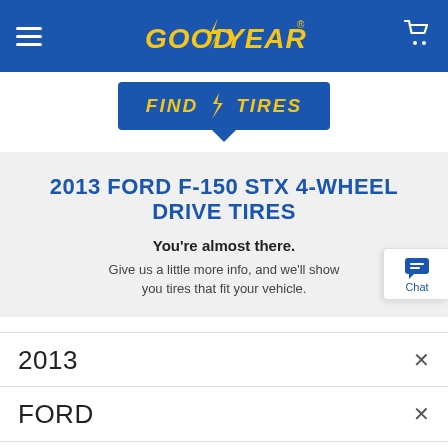Goodyear - Find Tires
[Figure (logo): Goodyear logo in yellow italic bold text with lightning bolt wingfoot on blue header bar]
[Figure (logo): Find Tires badge in blue with yellow text and lightning bolt, with downward pointing arrow/triangle at bottom]
2013 FORD F-150 STX 4-WHEEL DRIVE TIRES
You're almost there. Give us a little more info, and we'll show you tires that fit your vehicle.
2013
FORD